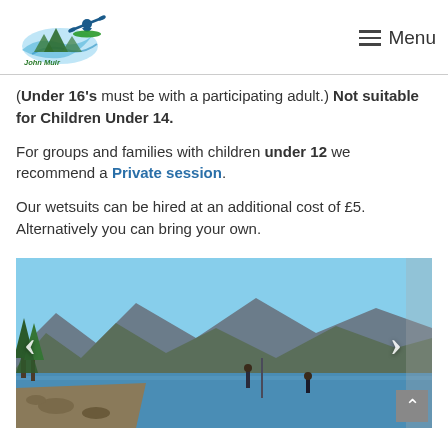John Muir Paddle Boarding — Menu
(Under 16's must be with a participating adult.) Not suitable for Children Under 14.
For groups and families with children under 12 we recommend a Private session.
Our wetsuits can be hired at an additional cost of £5. Alternatively you can bring your own.
[Figure (photo): Photo of people paddleboarding on a loch with mountains in the background, with left and right navigation arrows and a scroll-up button]